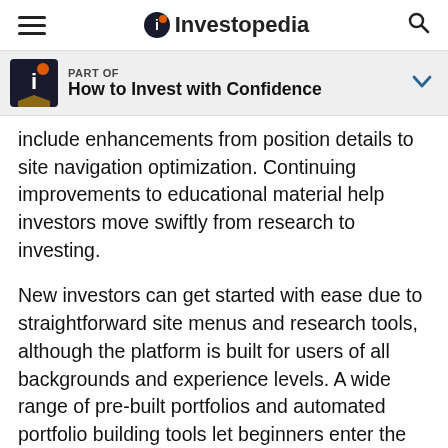Investopedia
PART OF
How to Invest with Confidence
include enhancements from position details to site navigation optimization. Continuing improvements to educational material help investors move swiftly from research to investing.
New investors can get started with ease due to straightforward site menus and research tools, although the platform is built for users of all backgrounds and experience levels. A wide range of pre-built portfolios and automated portfolio building tools let beginners enter the market without having to spend an exorbitant amount of time learning the ropes. The